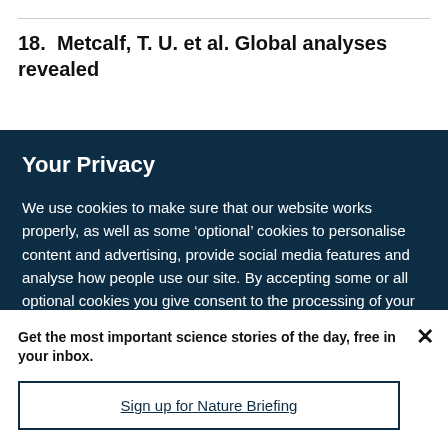18.  Metcalf, T. U. et al. Global analyses revealed
Your Privacy
We use cookies to make sure that our website works properly, as well as some ‘optional’ cookies to personalise content and advertising, provide social media features and analyse how people use our site. By accepting some or all optional cookies you give consent to the processing of your personal data, including transfer to third parties, some in countries outside of the European Economic Area that do not offer the same data protection standards as the country where you live. You can decide which optional cookies to accept by clicking on ‘Manage Settings’, where you can
Get the most important science stories of the day, free in your inbox.
Sign up for Nature Briefing